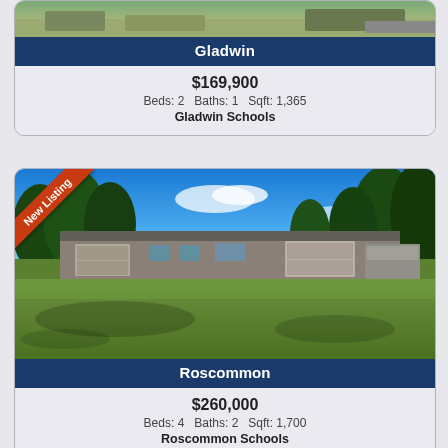[Figure (photo): Exterior photo of a Gladwin property (cropped, partially visible at top of card)]
Gladwin
$169,900
Beds: 2  Baths: 1  Sqft: 1,365
Gladwin Schools
[Figure (photo): Exterior photo of a ranch-style home in Roscommon with large lawn, trees, driveway, and garage. Badge reads New Listing.]
Roscommon
$260,000
Beds: 4  Baths: 2  Sqft: 1,700
Roscommon Schools